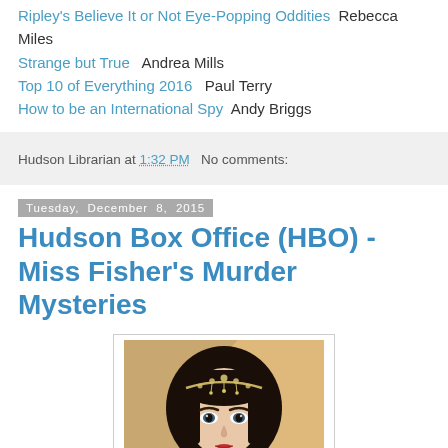Ripley's Believe It or Not Eye-Popping Oddities   Rebecca Miles
Strange but True   Andrea Mills
Top 10 of Everything 2016   Paul Terry
How to be an International Spy   Andy Briggs
Hudson Librarian at 1:32 PM   No comments:
Tuesday, December 8, 2015
Hudson Box Office (HBO) - Miss Fisher's Murder Mysteries
[Figure (photo): Portrait photo of a woman with dark bob haircut and jeweled headband, in period costume, from Miss Fisher's Murder Mysteries]